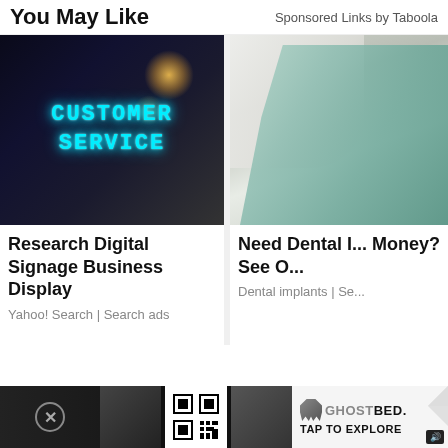You May Like
Sponsored Links by Taboola
[Figure (photo): Dark background image with glowing cyan neon text reading CUSTOMER SERVICE, with bokeh light effects]
Research Digital Signage Business Display
Yahoo! Search | Search ads
[Figure (photo): Close-up of a dental professional wearing teal/mint gloves working on a patient]
Need Dental I... Money? See O...
Dental implants | Se...
questionmark
#50
[Figure (screenshot): Bottom banner advertisement for GhostBed with TAP TO EXPLORE button and speaker icon, showing thumbnail images and a QR code]